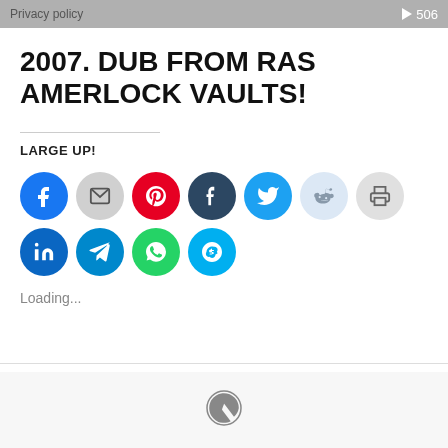[Figure (screenshot): Audio player bar with Privacy policy label on left and play button with 506 time on right, gray background]
2007. DUB FROM RAS AMERLOCK VAULTS!
LARGE UP!
[Figure (infographic): Social media sharing icons: Facebook, Email, Pinterest, Tumblr, Twitter, Reddit, Print (row 1); LinkedIn, Telegram, WhatsApp, Skype (row 2)]
Loading...
[Figure (logo): WordPress logo circle icon in footer]